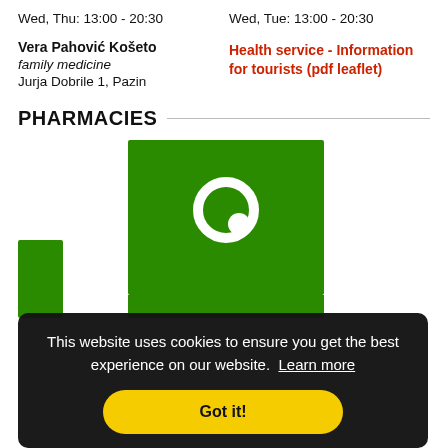Wed, Thu: 13:00 - 20:30
Wed, Tue: 13:00 - 20:30
Vera Pahović Košeto
family medicine
Jurja Dobrile 1, Pazin
Health service - Information for tourists (pdf leaflet)
PHARMACIES
[Figure (illustration): Green pharmacy cross/logo symbol on green background rectangles]
This website uses cookies to ensure you get the best experience on our website. Learn more
Got it!